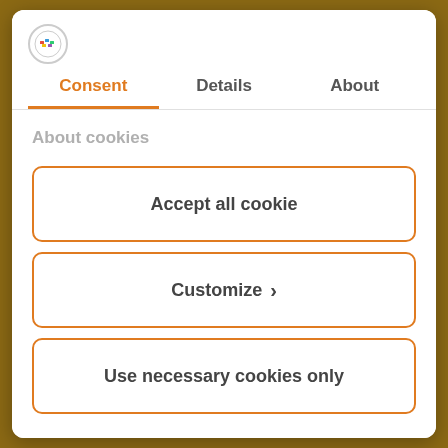[Figure (logo): Small circular logo with colorful icon]
Consent	Details	About
About cookies
Accept all cookie
Customize >
Use necessary cookies only
Powered by Cookiebot by Usercentrics